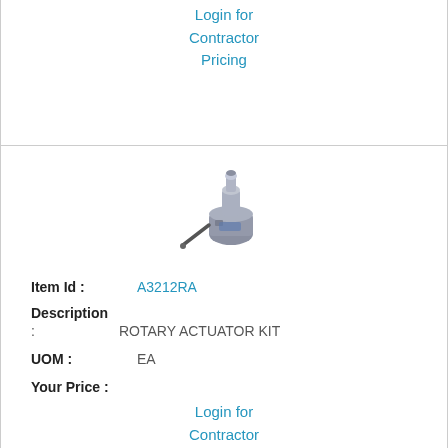Login for Contractor Pricing
[Figure (photo): Rotary actuator kit product photograph - small mechanical device with cylindrical top and lever arm]
Item Id : A3212RA
Description
: ROTARY ACTUATOR KIT
UOM : EA
Your Price :
Login for Contractor Pricing